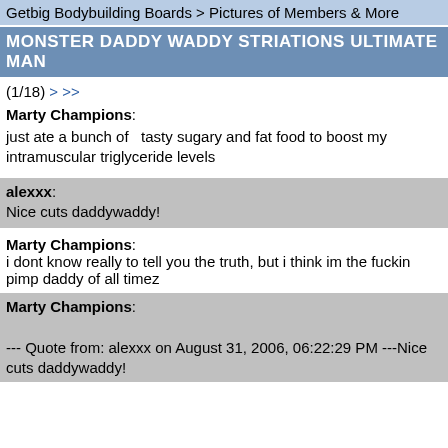Getbig Bodybuilding Boards > Pictures of Members & More
MONSTER DADDY WADDY STRIATIONS ULTIMATE MAN
(1/18) > >>
Marty Champions:
just ate a bunch of  tasty sugary and fat food to boost my intramuscular triglyceride levels
alexxx: Nice cuts daddywaddy!
Marty Champions: i dont know really to tell you the truth, but i think im the fuckin pimp daddy of all timez
Marty Champions: --- Quote from: alexxx on August 31, 2006, 06:22:29 PM ---Nice cuts daddywaddy!